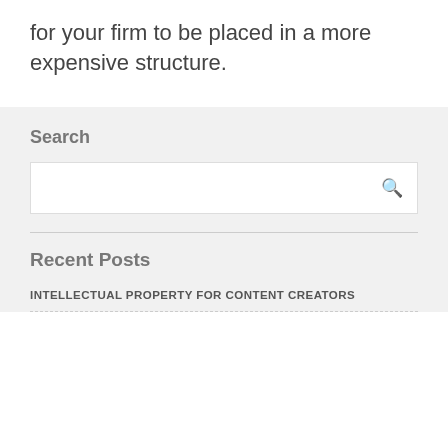for your firm to be placed in a more expensive structure.
Search
Recent Posts
INTELLECTUAL PROPERTY FOR CONTENT CREATORS